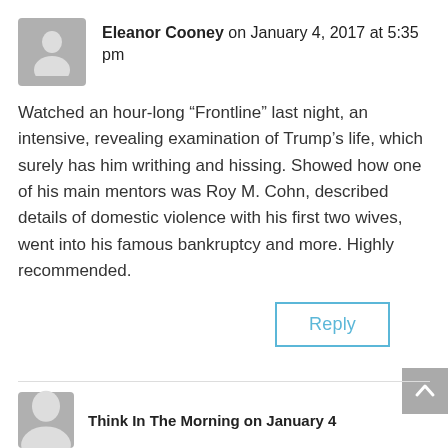Eleanor Cooney on January 4, 2017 at 5:35 pm
Watched an hour-long “Frontline” last night, an intensive, revealing examination of Trump’s life, which surely has him writhing and hissing. Showed how one of his main mentors was Roy M. Cohn, described details of domestic violence with his first two wives, went into his famous bankruptcy and more. Highly recommended.
Reply
Think In The Morning on January 4